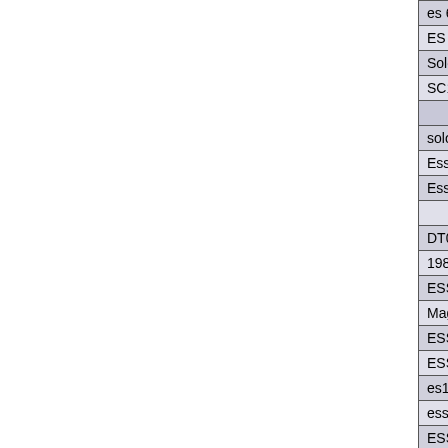| Driver |
| --- |
| es 688 driver |
| ES 688 driver |
| Solo 1 ES1938 driver |
| SC1938 driver |
| Driver |
| solo 1 driver |
| Ess 1938 driver |
| Ess 1938 driver |
|  |
| DT0398 Legacy Audio driver |
| 1989s driver |
| ESS1868 driver |
| Magicsound and Ect driver |
| ESS AudioDrive 1869 driver |
| ESS AudioDrive 1869 driver |
| es1930s driver |
| ess1869f driver |
| ESS 1868 driver |
| es1938s solo 1 driver |
|  |
| cx4235 driver |
| 1689 driver |